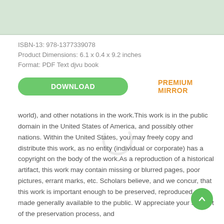ISBN-13: 978-1377339078
Product Dimensions: 6.1 x 0.4 x 9.2 inches
Format: PDF Text djvu book
DOWNLOAD   PREMIUM MIRROR
world), and other notations in the work.This work is in the public domain in the United States of America, and possibly other nations. Within the United States, you may freely copy and distribute this work, as no entity (individual or corporate) has a copyright on the body of the work.As a reproduction of a historical artifact, this work may contain missing or blurred pages, poor pictures, errant marks, etc. Scholars believe, and we concur, that this work is important enough to be preserved, reproduced, and made generally available to the public. We appreciate your support of the preservation process, and